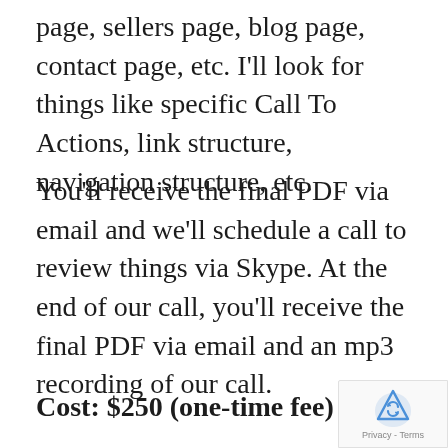page, sellers page, blog page, contact page, etc. I'll look for things like specific Call To Actions, link structure, navigation structure, etc.
You'll receive the final PDF via email and we'll schedule a call to review things via Skype. At the end of our call, you'll receive the final PDF via email and an mp3 recording of our call.
Cost: $250 (one-time fee)